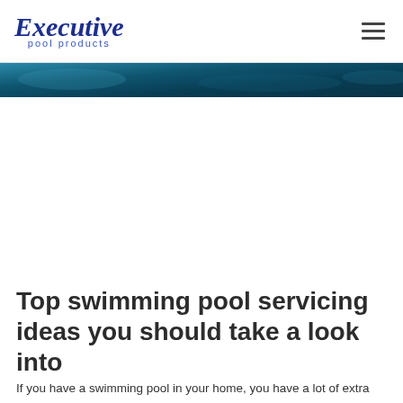Executive pool products
[Figure (photo): Teal/dark blue water or pool banner image strip]
Top swimming pool servicing ideas you should take a look into
If you have a swimming pool in your home, you have a lot of extra